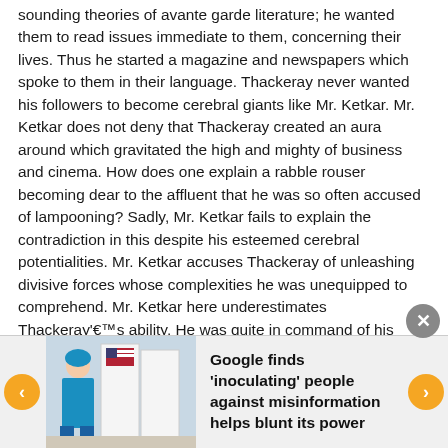sounding theories of avante garde literature; he wanted them to read issues immediate to them, concerning their lives. Thus he started a magazine and newspapers which spoke to them in their language. Thackeray never wanted his followers to become cerebral giants like Mr. Ketkar. Mr. Ketkar does not deny that Thackeray created an aura around which gravitated the high and mighty of business and cinema. How does one explain a rabble rouser becoming dear to the affluent that he was so often accused of lampooning? Sadly, Mr. Ketkar fails to explain the contradiction in this despite his esteemed cerebral potentialities. Mr. Ketkar accuses Thackeray of unleashing divisive forces whose complexities he was unequipped to comprehend. Mr. Ketkar here underestimates Thackeray’s ability. He was quite in command of his forces which he ‘remote controlled’. True it was that he enjoyed power minus its frills and unabashedly admitted it. One doubt how many others leaders in India, for instance Sonia Gandhi, would accept accusations of remote controlling their forces; and how many journalists, such as Mr. Ketkar,
[Figure (photo): Photo of a person in blue scrubs at a voting booth with American flag]
Google finds 'inoculating' people against misinformation helps blunt its power